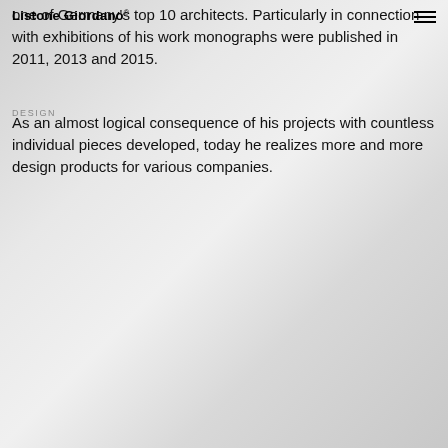Listone Giordano®
one of Germany's top 10 architects. Particularly in connection with exhibitions of his work monographs were published in 2011, 2013 and 2015.
As an almost logical consequence of his projects with countless individual pieces developed, today he realizes more and more design products for various companies.